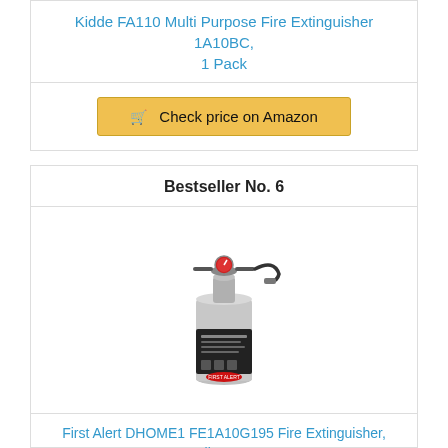Kidde FA110 Multi Purpose Fire Extinguisher 1A10BC, 1 Pack
Check price on Amazon
Bestseller No. 6
[Figure (photo): Silver First Alert DHOME1 fire extinguisher with black label and hose]
First Alert DHOME1 FE1A10G195 Fire Extinguisher, 2.5 lb, Pewter